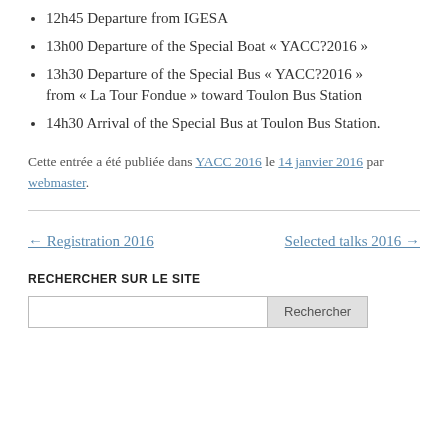12h45 Departure from IGESA
13h00 Departure of the Special Boat « YACC?2016 »
13h30 Departure of the Special Bus « YACC?2016 » from « La Tour Fondue » toward Toulon Bus Station
14h30 Arrival of the Special Bus at Toulon Bus Station.
Cette entrée a été publiée dans YACC 2016 le 14 janvier 2016 par webmaster.
← Registration 2016   Selected talks 2016 →
RECHERCHER SUR LE SITE